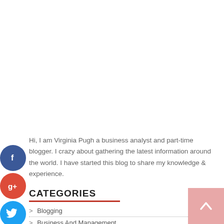Hi, I am Virginia Pugh a business analyst and part-time blogger. I crazy about gathering the latest information around the world. I have started this blog to share my knowledge & experience.
CATEGORIES
> Blogging
> Business And Management
> Education